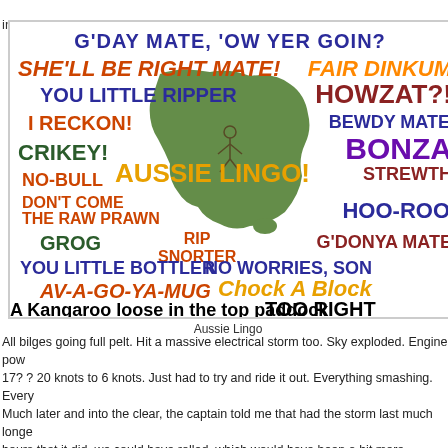into the bottomless troughs and walls of waves and took on a worrying amount of wa
[Figure (infographic): Aussie Lingo word cloud with Australian map silhouette in the center. Various Australian slang phrases in different colors, fonts, and sizes: G'DAY MATE, 'OW YER GOIN?, SHE'LL BE RIGHT MATE!, FAIR DINKUM, YOU LITTLE RIPPER, HOWZAT?!, I RECKON!, BEWDY MATE, CRIKEY!, BONZA, NO-BULL, AUSSIE LINGO!, STREWTH, DON'T COME THE RAW PRAWN, HOO-ROO, GROG, RIP SNORTER, G'DONYA MATE, YOU LITTLE BOTTLER, NO WORRIES, SON, AV-A-GO-YA-MUG, Chock A Block, A Kangaroo loose in the top paddock, TOO RIGHT]
Aussie Lingo
All bilges going full pelt. Hit a massive electrical storm too. Sky exploded. Engine pow 17? ? 20 knots to 6 knots. Just had to try and ride it out. Everything smashing. Every Much later and into the clear, the captain told me that had the storm last much longe hours that it did, we could have rolled, which would have been a bit more excitement for. I had always wanted to cross the Tasman sea by ship, but I can't say I've ever be I've wanted to swim it.